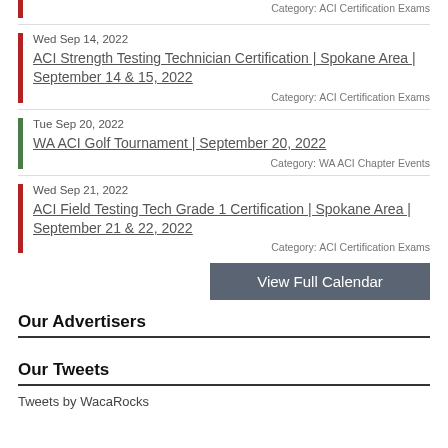Category: ACI Certification Exams
Wed Sep 14, 2022
ACI Strength Testing Technician Certification | Spokane Area | September 14 & 15, 2022
Category: ACI Certification Exams
Tue Sep 20, 2022
WA ACI Golf Tournament | September 20, 2022
Category: WA ACI Chapter Events
Wed Sep 21, 2022
ACI Field Testing Tech Grade 1 Certification | Spokane Area | September 21 & 22, 2022
Category: ACI Certification Exams
View Full Calendar
Our Advertisers
Our Tweets
Tweets by WacaRocks